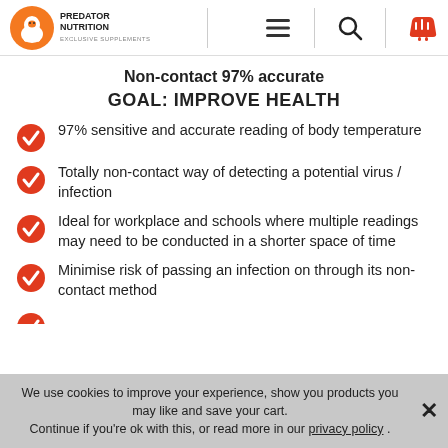Predator Nutrition - Exclusive Supplements
Non-contact 97% accurate
GOAL: IMPROVE HEALTH
97% sensitive and accurate reading of body temperature
Totally non-contact way of detecting a potential virus / infection
Ideal for workplace and schools where multiple readings may need to be conducted in a shorter space of time
Minimise risk of passing an infection on through its non-contact method
We use cookies to improve your experience, show you products you may like and save your cart. Continue if you're ok with this, or read more in our privacy policy .